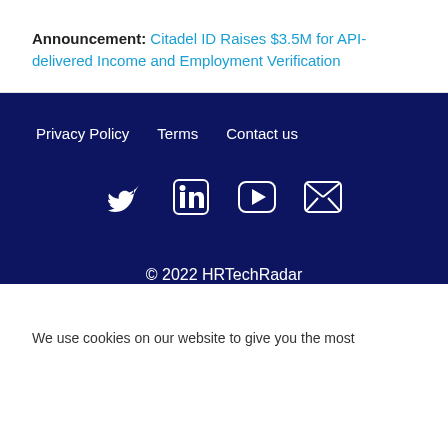Announcement: Citadel ID Raises $3.5M for API-delivered Income and Employment Verification
Privacy Policy   Terms   Contact us
[Figure (other): Social media icons: Twitter, LinkedIn, YouTube, and email/envelope icon]
© 2022 HRTechRadar
We use cookies on our website to give you the most